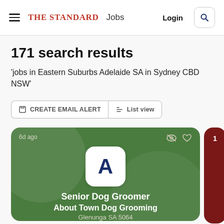THE STANDARD Jobs — Login
171 search results
'jobs in Eastern Suburbs Adelaide SA in Sydney CBD NSW'
CREATE EMAIL ALERT
List view
[Figure (screenshot): Job listing card for Senior Dog Groomer at About Town Dog Grooming, Glenunga SA 5064, posted 6d ago, on a green background with company logo showing letter A]
Senior Dog Groomer
About Town Dog Grooming
Glenunga SA 5064